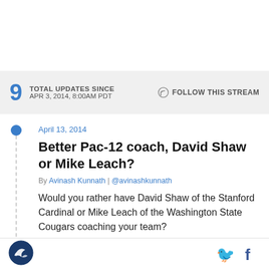9 TOTAL UPDATES SINCE APR 3, 2014, 8:00AM PDT | FOLLOW THIS STREAM
April 13, 2014
Better Pac-12 coach, David Shaw or Mike Leach?
By Avinash Kunnath | @avinashkunnath
Would you rather have David Shaw of the Stanford Cardinal or Mike Leach of the Washington State Cougars coaching your team?
[SB Nation logo] [Twitter icon] [Facebook icon]